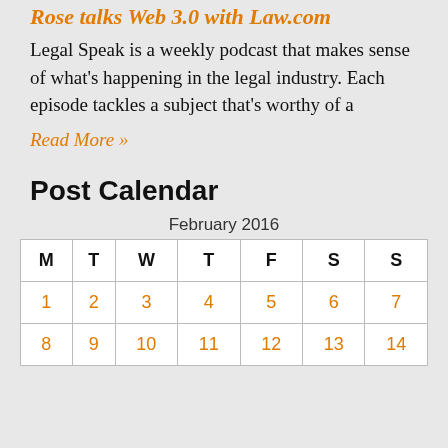Rose talks Web 3.0 with Law.com
Legal Speak is a weekly podcast that makes sense of what's happening in the legal industry. Each episode tackles a subject that's worthy of a
Read More »
Post Calendar
| M | T | W | T | F | S | S |
| --- | --- | --- | --- | --- | --- | --- |
| 1 | 2 | 3 | 4 | 5 | 6 | 7 |
| 8 | 9 | 10 | 11 | 12 | 13 | 14 |